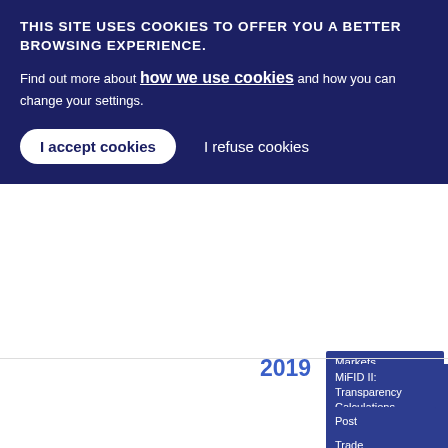THIS SITE USES COOKIES TO OFFER YOU A BETTER BROWSING EXPERIENCE. Find out more about how we use cookies and how you can change your settings.
I accept cookies | I refuse cookies
2019
Markets
MiFID II: Transparency Calculations and DVC
Post Trading
Trade Repositories
Benchmarks
07/10/2019
ESMA 90-1-167
Update on the
Statement
PDF
Brexit
MiFID -
17 9.84